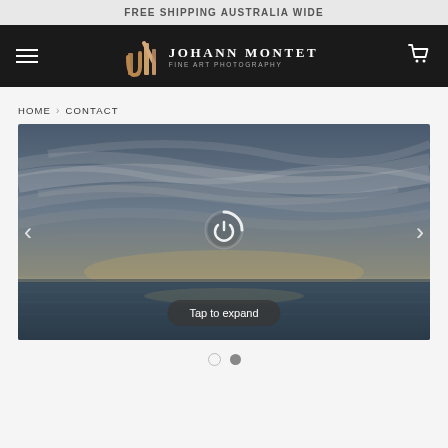FREE SHIPPING AUSTRALIA WIDE
[Figure (logo): Johann Montet Fine Art Photography logo with stylized JM lettermark in gold on black navigation bar, with hamburger menu left and cart icon right]
HOME › CONTACT
[Figure (photo): Dramatic wide-angle fine art landscape photograph of a stormy sky with streaked clouds over a body of water at dusk, with a loading spinner overlay and navigation arrows. A 'Tap to expand' button appears at the bottom of the image.]
Tap to expand
● ●  (slide indicators, first empty, second filled)